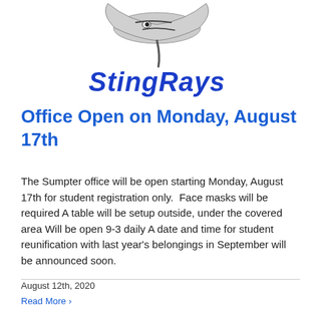[Figure (logo): Stingrays school mascot logo — stingray illustration above blue stylized 'Stingrays' text]
Office Open on Monday, August 17th
The Sumpter office will be open starting Monday, August 17th for student registration only.  Face masks will be required A table will be setup outside, under the covered area Will be open 9-3 daily A date and time for student reunification with last year's belongings in September will be announced soon.
August 12th, 2020
Read More >